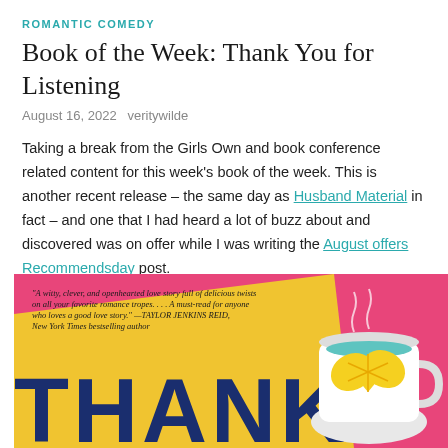ROMANTIC COMEDY
Book of the Week: Thank You for Listening
August 16, 2022   veritywilde
Taking a break from the Girls Own and book conference related content for this week's book of the week. This is another recent release – the same day as Husband Material in fact – and one that I had heard a lot of buzz about and discovered was on offer while I was writing the August offers Recommendsday post.
[Figure (photo): Book cover of 'Thank You for Listening' showing bright pink/yellow background with large dark blue text 'THANK' visible at bottom, and a decorative tea cup with heart-shaped lemon slice on the right. Quote from Taylor Jenkins Reid at top left.]